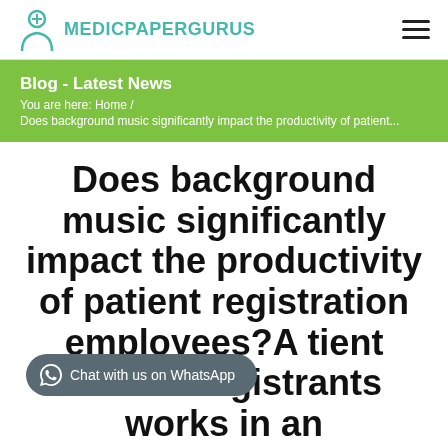MEDICPAPERGURUS
Blog - Latest News
You are here:  Home  /  Does background music significantly impact the productivity of patient...
Does background music significantly impact the productivity of patient registration employees?A tient access registrants works in an
Chat with us on WhatsApp